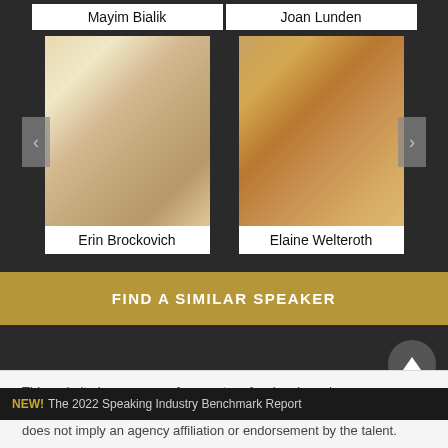Mayim Bialik
Joan Lunden
[Figure (photo): Headshot of Erin Brockovich, a blonde woman smiling]
[Figure (photo): Headshot of Elaine Welteroth, a woman with curly hair smiling]
Erin Brockovich
Elaine Welteroth
FIND A SIMILAR SPEAKER
This website is a resource for event professionals and
NEW! The 2022 Speaking Industry Benchmark Report
does not imply an agency affiliation or endorsement by the talent.